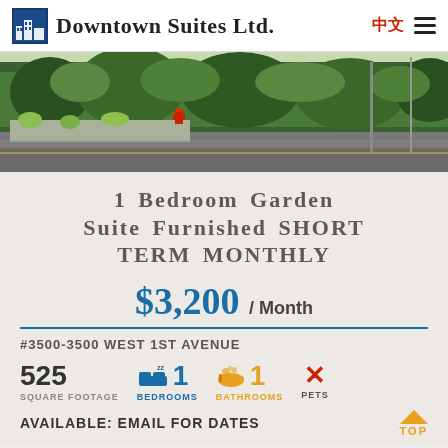Downtown Suites Ltd.
[Figure (photo): Outdoor street-level photo showing a green hedge, sidewalk, and road with a fire hydrant visible]
1 Bedroom Garden Suite Furnished SHORT TERM MONTHLY
$3,200 / Month
#3500-3500 WEST 1ST AVENUE
525 SQUARE FOOTAGE   1 BEDROOMS   1 BATHROOMS   PETS
AVAILABLE: EMAIL FOR DATES